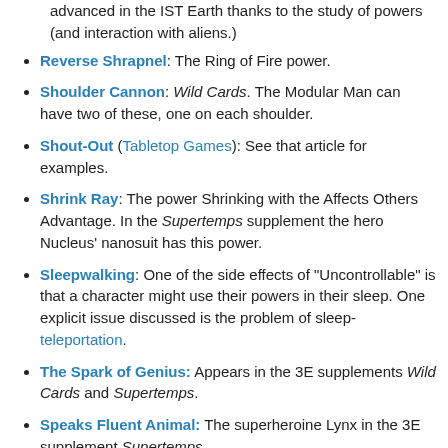advanced in the IST Earth thanks to the study of powers (and interaction with aliens.)
Reverse Shrapnel: The Ring of Fire power.
Shoulder Cannon: Wild Cards. The Modular Man can have two of these, one on each shoulder.
Shout-Out (Tabletop Games): See that article for examples.
Shrink Ray: The power Shrinking with the Affects Others Advantage. In the Supertemps supplement the hero Nucleus' nanosuit has this power.
Sleepwalking: One of the side effects of "Uncontrollable" is that a character might use their powers in their sleep. One explicit issue discussed is the problem of sleep-teleportation.
The Spark of Genius: Appears in the 3E supplements Wild Cards and Supertemps.
Speaks Fluent Animal: The superheroine Lynx in the 3E supplement Supertemps.